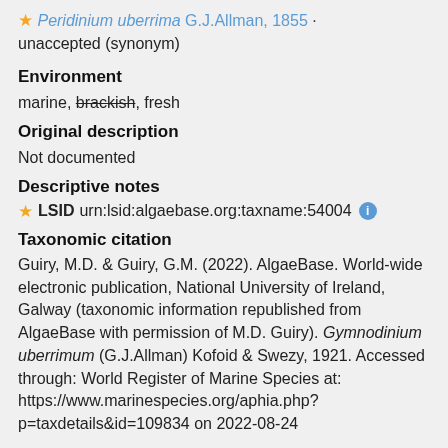⭐ Peridinium uberrima G.J.Allman, 1855 · unaccepted (synonym)
Environment
marine, brackish, fresh
Original description
Not documented
Descriptive notes
⭐ LSID urn:lsid:algaebase.org:taxname:54004 ⓘ
Taxonomic citation
Guiry, M.D. & Guiry, G.M. (2022). AlgaeBase. World-wide electronic publication, National University of Ireland, Galway (taxonomic information republished from AlgaeBase with permission of M.D. Guiry). Gymnodinium uberrimum (G.J.Allman) Kofoid & Swezy, 1921. Accessed through: World Register of Marine Species at: https://www.marinespecies.org/aphia.php?p=taxdetails&id=109834 on 2022-08-24